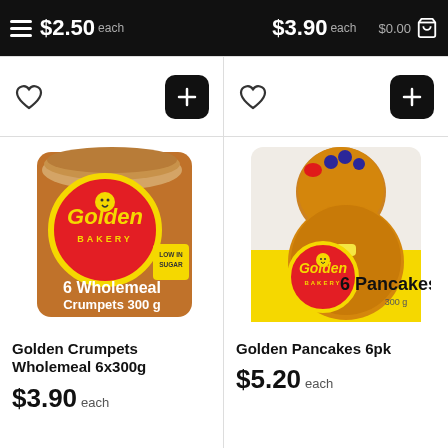$2.50 each   $3.90 each   $0.00
[Figure (photo): Golden Bakery 6 Wholemeal Crumpets 300g product package]
Golden Crumpets Wholemeal 6x300g
$3.90 each
[Figure (photo): Golden Bakery 6 Pancakes 300g product package]
Golden Pancakes 6pk
$5.20 each